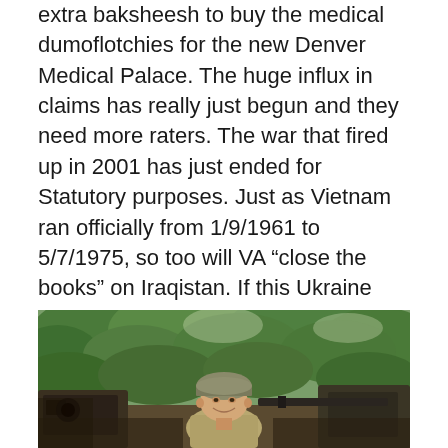extra baksheesh to buy the medical dumoflotchies for the new Denver Medical Palace. The huge influx in claims has really just begun and they need more raters. The war that fired up in 2001 has just ended for Statutory purposes. Just as Vietnam ran officially from 1/9/1961 to 5/7/1975, so too will VA “close the books” on Iraqistan. If this Ukraine insanity turns into a shooting affair and we stick our foot in it, VA will be opening a new chapter of “Ukraine Era Veteran” and announce it in future ratings decisions. As much as things change, so do they stay the same. SOSDD.
[Figure (photo): A soldier in a helmet smiling, seated behind equipment, with tropical jungle vegetation in the background. Appears to be a Vietnam War era photograph.]